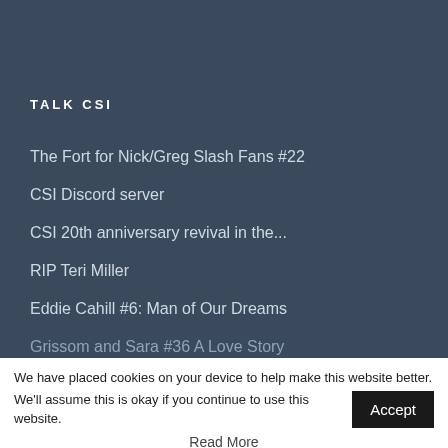TALK CSI
The Fort for Nick/Greg Slash Fans #22
CSI Discord server
CSI 20th anniversary revival in the...
RIP Teri Miller
Eddie Cahill #6: Man of Our Dreams
Grissom and Sara #36 A Love Story
We have placed cookies on your device to help make this website better. We'll assume this is okay if you continue to use this website. Accept
Read More